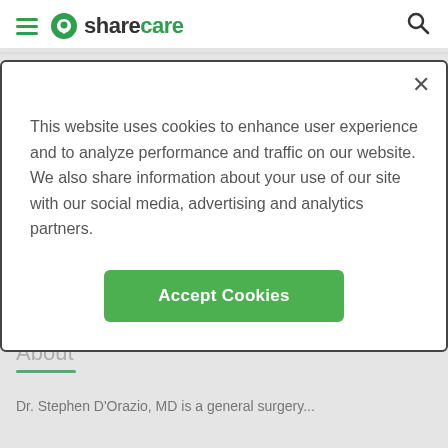sharecare
This website uses cookies to enhance user experience and to analyze performance and traffic on our website. We also share information about your use of our site with our social media, advertising and analytics partners.
Accept Cookies
[Figure (photo): Doctor in blue scrubs with surgical mask around neck, smiling]
★★★★★ (6)
Accepting New Patients
Show phone number
About
Dr. Stephen D'Orazio, MD is a general surgery...